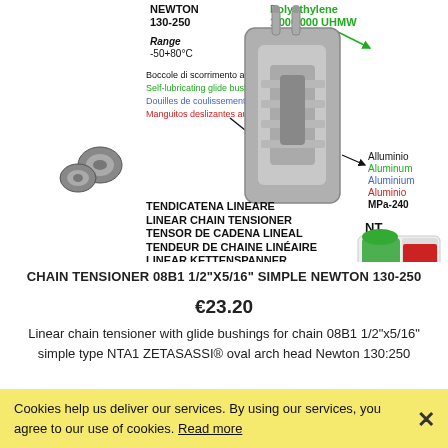[Figure (illustration): Product illustration of a linear chain tensioner with labeled components: Polyethylene 1'000'000 UHMW, self-lubricating glide bushings (multilingual labels), Aluminium/Aluminum/Aluminium/Aluminio MPa-240, NT label with inset image, and multilingual product name TENDICATENA LINEARE / LINEAR CHAIN TENSIONER / TENSOR DE CADENA LINEAL / TENDEUR DE CHAINE LINÉAIRE / LINEAR KETTENSPANNER. Copyright ZETASASSI®.]
CHAIN TENSIONER 08B1 1/2"X5/16" SIMPLE NEWTON 130-250
€23.20
Linear chain tensioner with glide bushings for chain 08B1 1/2"x5/16" simple type NTA1 ZETASASSI® oval arch head Newton 130:250
Cookies help us deliver our services. By using our services, you agree to our use of cookies. Read more